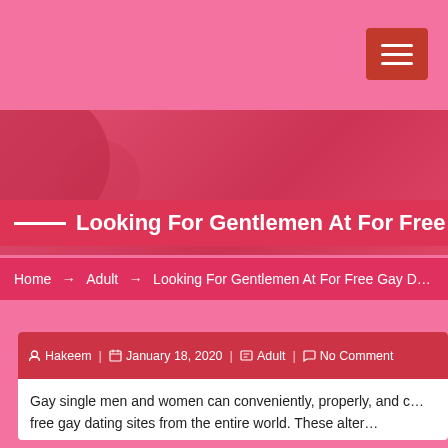Looking For Gentlemen At For Free Gay ...
Home → Adult → Looking For Gentlemen At For Free Gay D...
Hakeem | January 18, 2020 | Adult | No Comment
Gay single men and women can conveniently, properly, and c... free gay dating sites from the entire world. These alter...